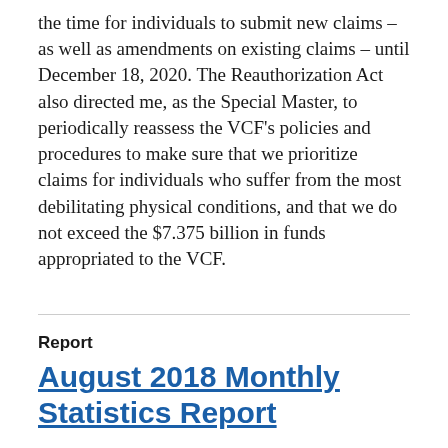the time for individuals to submit new claims – as well as amendments on existing claims – until December 18, 2020. The Reauthorization Act also directed me, as the Special Master, to periodically reassess the VCF's policies and procedures to make sure that we prioritize claims for individuals who suffer from the most debilitating physical conditions, and that we do not exceed the $7.375 billion in funds appropriated to the VCF.
Report
August 2018 Monthly Statistics Report
September 5, 2018